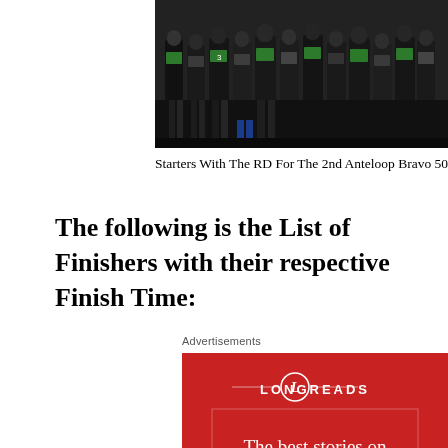[Figure (photo): Group photo of runners/starters with the Race Director for the 2nd Anteloop Bravo 50K Trail Run, cropped at top of page showing legs and lower bodies of participants with numbered race bibs on a dark background]
Starters With The RD For The 2nd Anteloop Bravo 50K Trail R
The following is the List of Finishers with their respective Finish Time:
Advertisements
[Figure (illustration): Longreads advertisement on a red background. Features the Longreads logo (circle with L), the text 'The best stories on the web – ours, and everyone else's.' and a dark 'Start reading' button.]